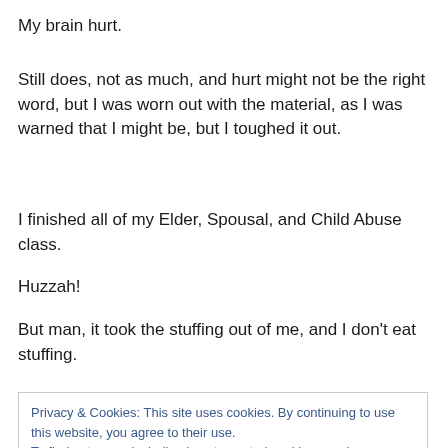My brain hurt.
Still does, not as much, and hurt might not be the right word, but I was worn out with the material, as I was warned that I might be, but I toughed it out.
I finished all of my Elder, Spousal, and Child Abuse class.
Huzzah!
But man, it took the stuffing out of me, and I don't eat stuffing.
Privacy & Cookies: This site uses cookies. By continuing to use this website, you agree to their use. To find out more, including how to control cookies, see here: Cookie Policy
I wrote out responses to five of the sections, I got three